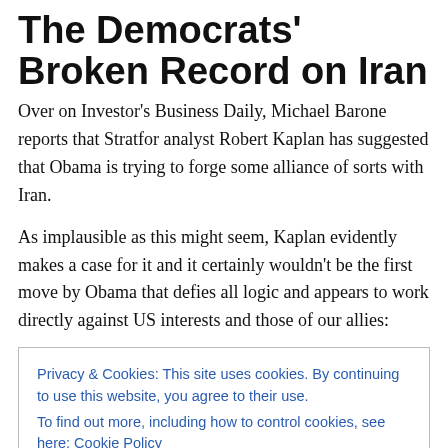The Democrats' Broken Record on Iran
Over on Investor's Business Daily, Michael Barone reports that Stratfor analyst Robert Kaplan has suggested that Obama is trying to forge some alliance of sorts with Iran.
As implausible as this might seem, Kaplan evidently makes a case for it and it certainly wouldn't be the first move by Obama that defies all logic and appears to work directly against US interests and those of our allies:
Privacy & Cookies: This site uses cookies. By continuing to use this website, you agree to their use.
To find out more, including how to control cookies, see here: Cookie Policy
Close and accept
Iran, a country that has sponsored Hezbollah in its